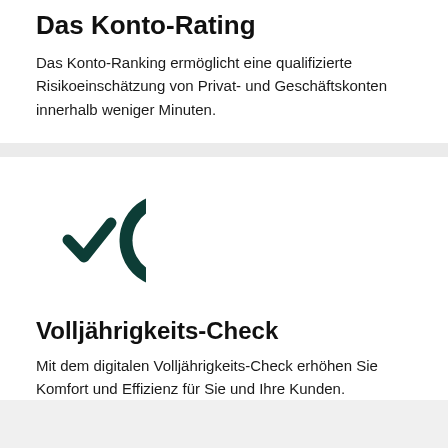Das Konto-Rating
Das Konto-Ranking ermöglicht eine qualifizierte Risikoeinschätzung von Privat- und Geschäftskonten innerhalb weniger Minuten.
[Figure (illustration): Dark teal circular arc (C-shape, open on right) with a checkmark inside, forming a verification/check icon]
Volljährigkeits-Check
Mit dem digitalen Volljährigkeits-Check erhöhen Sie Komfort und Effizienz für Sie und Ihre Kunden.